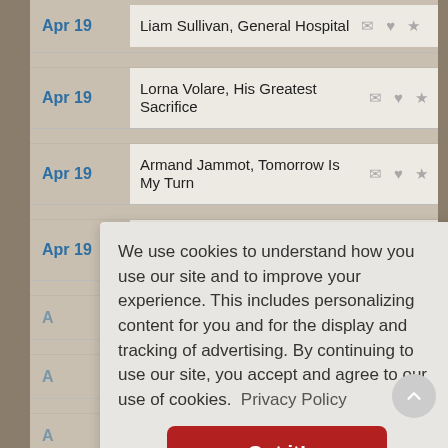Apr 19 — Liam Sullivan, General Hospital
Apr 19 — Lorna Volare, His Greatest Sacrifice
Apr 19 — Armand Jammot, Tomorrow Is My Turn
Apr 19 — Fred Pressburger, Hangmen Also Die!
We use cookies to understand how you use our site and to improve your experience. This includes personalizing content for you and for the display and tracking of advertising. By continuing to use our site, you accept and agree to our use of cookies.  Privacy Policy
Got it!